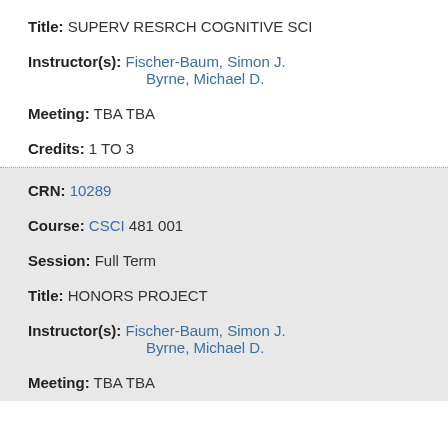Title: SUPERV RESRCH COGNITIVE SCI
Instructor(s): Fischer-Baum, Simon J. Byrne, Michael D.
Meeting: TBA TBA
Credits: 1 TO 3
CRN: 10289
Course: CSCI 481 001
Session: Full Term
Title: HONORS PROJECT
Instructor(s): Fischer-Baum, Simon J. Byrne, Michael D.
Meeting: TBA TBA